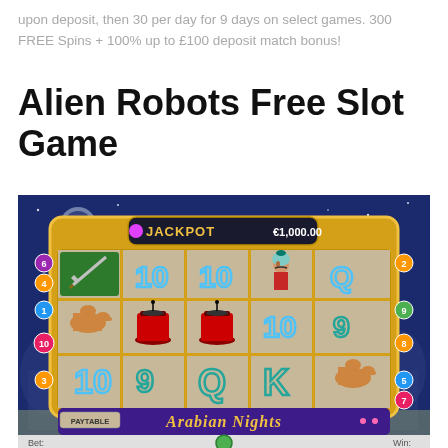upon deposit, then 30 per day for 9 days on select games. 300 FREE Spins + 100% up to £100 deposit match bonus!
Alien Robots Free Slot Game
[Figure (screenshot): Screenshot of Arabian Nights slot machine game showing a 5-reel slot with golden frame, JACKPOT display showing €1,000.00, various symbols including sword, camel, fez hat, playing card symbols (10, 9, Q, K), a sultan character, pay lines numbered on sides, PAYTABLE button, and Arabian Nights branding at bottom. Bottom controls show Bet, coin controls, and Win fields.]